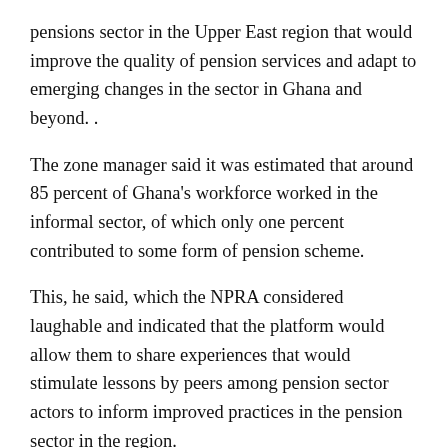pensions sector in the Upper East region that would improve the quality of pension services and adapt to emerging changes in the sector in Ghana and beyond. .
The zone manager said it was estimated that around 85 percent of Ghana's workforce worked in the informal sector, of which only one percent contributed to some form of pension scheme.
This, he said, which the NPRA considered laughable and indicated that the platform would allow them to share experiences that would stimulate lessons by peers among pension sector actors to inform improved practices in the pension sector in the region.
He assured that the NPRA would continue to partner with the various stakeholders to ensure the security of pension funds in order to guarantee secure income security for all workers during retirement.
Ms. Abdul Abdul Rahaman, Area Officer, Corporate Affairs Offi...